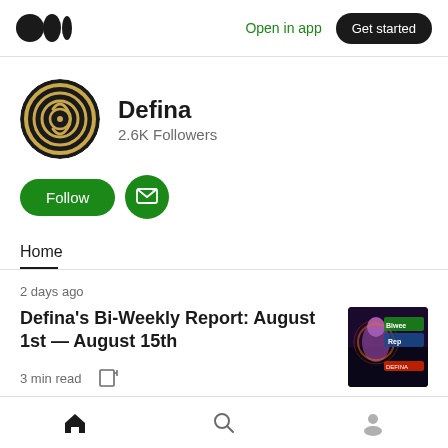Medium logo | Open in app | Get started
[Figure (logo): Medium logo — three black circles of varying sizes arranged horizontally]
Open in app
Get started
[Figure (logo): Defina profile avatar — circular logo with gold spiral on black background]
Defina
2.6K Followers
Follow
Home
2 days ago
Defina's Bi-Weekly Report: August 1st — August 15th
3 min read
[Figure (photo): Thumbnail image for the Defina Bi-Weekly Report article showing colorful gaming/crypto artwork with 'Biwee Rep' text]
Home | Search | Profile navigation icons